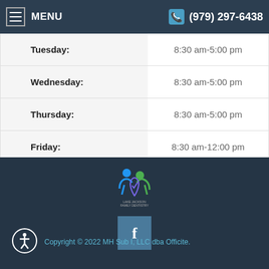MENU | (979) 297-6438
| Day | Hours |
| --- | --- |
| Tuesday: | 8:30 am-5:00 pm |
| Wednesday: | 8:30 am-5:00 pm |
| Thursday: | 8:30 am-5:00 pm |
| Friday: | 8:30 am-12:00 pm |
| Saturday: | Closed |
| Sunday: | Closed |
[Figure (logo): Lake Jackson Family Dentistry logo with two figures and tooth shape]
[Figure (logo): Facebook social media icon button]
[Figure (logo): Accessibility icon - person with circle]
Copyright © 2022 MH Sub I, LLC dba Officite.